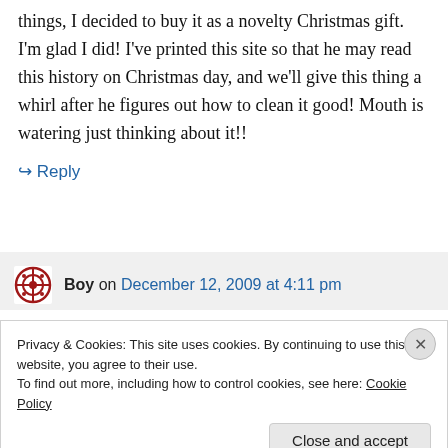things, I decided to buy it as a novelty Christmas gift. I'm glad I did! I've printed this site so that he may read this history on Christmas day, and we'll give this thing a whirl after he figures out how to clean it good! Mouth is watering just thinking about it!!
↳ Reply
Boy on December 12, 2009 at 4:11 pm
Privacy & Cookies: This site uses cookies. By continuing to use this website, you agree to their use.
To find out more, including how to control cookies, see here: Cookie Policy
Close and accept